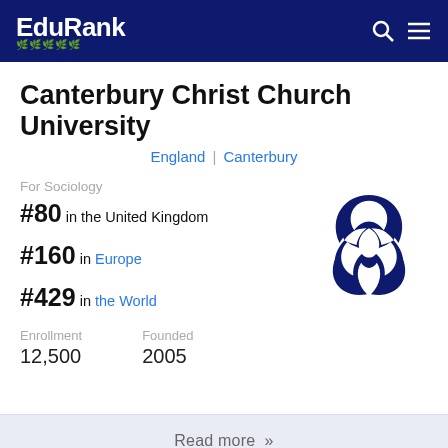EduRank
Canterbury Christ Church University
England | Canterbury
For Sociology
#80 in the United Kingdom
#160 in Europe
#429 in the World
[Figure (logo): Canterbury Christ Church University logo: three interlocking navy blue leaf/petal shapes forming a trefoil knot symbol]
Enrollment
12,500
Founded
2005
Read more »